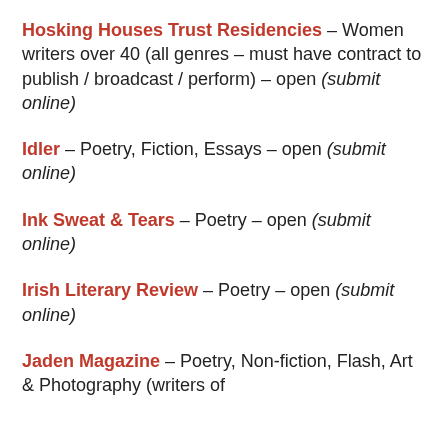Hosking Houses Trust Residencies – Women writers over 40 (all genres – must have contract to publish / broadcast / perform) – open (submit online)
Idler – Poetry, Fiction, Essays – open (submit online)
Ink Sweat & Tears – Poetry – open (submit online)
Irish Literary Review – Poetry – open (submit online)
Jaden Magazine – Poetry, Non-fiction, Flash, Art & Photography (writers of